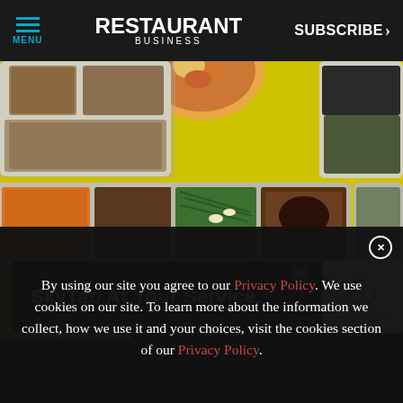MENU | RESTAURANT BUSINESS | SUBSCRIBE >
[Figure (photo): Overhead view of multiple aluminum takeout meal trays filled with various foods including fried chicken, vegetables, rice dishes, and other items, arranged on a bright yellow background. A dark advertisement banner overlays the bottom portion reading 'SkyTab At Your Service.' with an X close button. A reCAPTCHA privacy badge is visible in the lower right corner.]
By using our site you agree to our Privacy Policy. We use cookies on our site. To learn more about the information we collect, how we use it and your choices, visit the cookies section of our Privacy Policy.